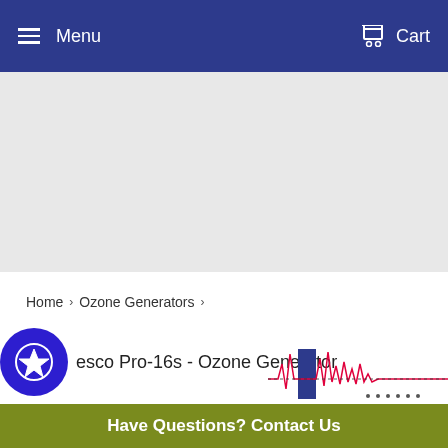Menu  Cart
[Figure (photo): Light gray banner/image placeholder area below the navigation bar]
Home  ›  Ozone Generators  ›
esco Pro-16s - Ozone Generator
[Figure (infographic): Blue circular star badge/icon on the left side of the product title]
[Figure (infographic): Waveform/heartbeat style graphic in bottom right corner]
Have Questions? Contact Us